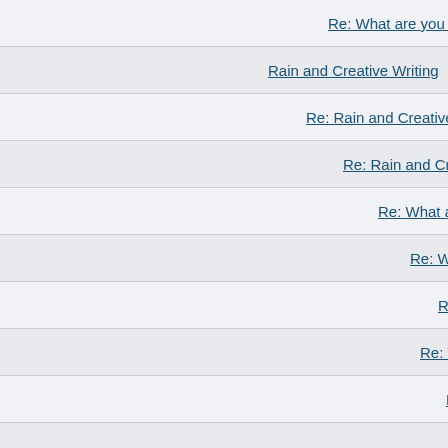Re: What are you looking forward to
Rain and Creative Writing
Re: Rain and Creative Writing
Re: Rain and Creative Writin
Re: What are you looking
Re: What are you lookin
Re: What are you loo
Re: What are you
Re: What are yo
Re: What are
Re: What a
Re: What are you looking forward to
Re: What are you looking forward to today?
Re: What are you looking forward to today?
Re: What are you looking forward to today?
Re: What are you looking forward to today?
Re: What are you looking forward to today?